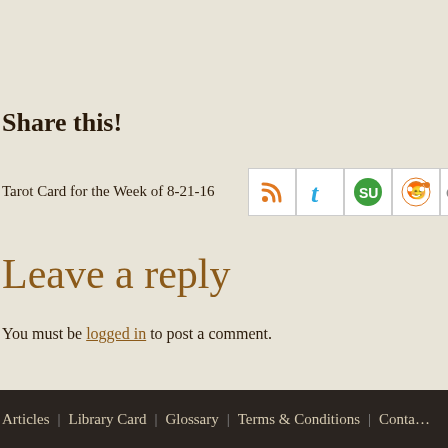Share this!
[Figure (screenshot): Row of social sharing icons: RSS (orange), Twitter (blue t), StumbleUpon (green SU), Reddit (orange alien), Digg (grey text), Delicious (blue/black squares), Facebook (blue f, partially visible)]
Tarot Card for the Week of 8-21-16
Leave a reply
You must be logged in to post a comment.
Articles | Library Card | Glossary | Terms & Conditions | Conta…